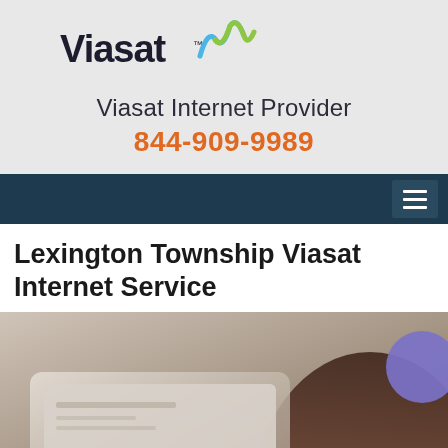[Figure (logo): Viasat logo with stylized signal wave icon in blue and green]
Viasat Internet Provider
844-909-9989
[Figure (other): Navigation bar with hamburger menu icon on dark blue background]
Lexington Township Viasat Internet Service
[Figure (photo): Person holding a tablet device, viewed from behind, with a purple circular chat bubble icon in the corner]